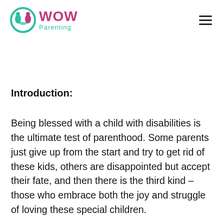[Figure (logo): WOW Parenting logo with circular icon in teal and pink, with 'WOW' in pink and 'Parenting' in teal]
Introduction:
Being blessed with a child with disabilities is the ultimate test of parenthood. Some parents just give up from the start and try to get rid of these kids, others are disappointed but accept their fate, and then there is the third kind – those who embrace both the joy and struggle of loving these special children.